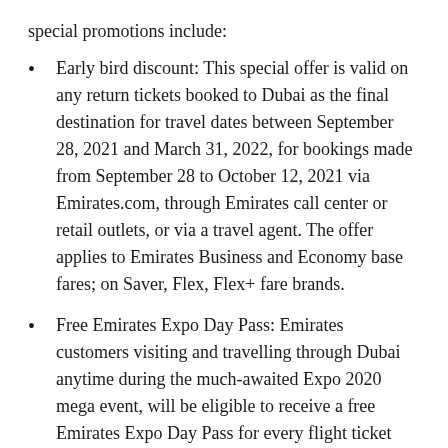special promotions include:
Early bird discount: This special offer is valid on any return tickets booked to Dubai as the final destination for travel dates between September 28, 2021 and March 31, 2022, for bookings made from September 28 to October 12, 2021 via Emirates.com, through Emirates call center or retail outlets, or via a travel agent. The offer applies to Emirates Business and Economy base fares; on Saver, Flex, Flex+ fare brands.
Free Emirates Expo Day Pass: Emirates customers visiting and travelling through Dubai anytime during the much-awaited Expo 2020 mega event, will be eligible to receive a free Emirates Expo Day Pass for every flight ticket booked with the airline. For more information on this promotion, please visit the dedicated offer page.
Earn a mile a minute in Dubai: Emirates customers can